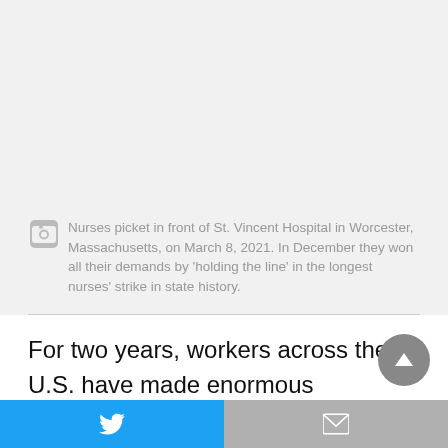Nurses picket in front of St. Vincent Hospital in Worcester, Massachusetts, on March 8, 2021. In December they won all their demands by 'holding the line' in the longest nurses' strike in state history.
For two years, workers across the U.S. have made enormous sacrifices as government officials continuously put corporate economic interests above the general welfare and public good. Health care and other workers have fought back in the face of government malfeasance and for-profit